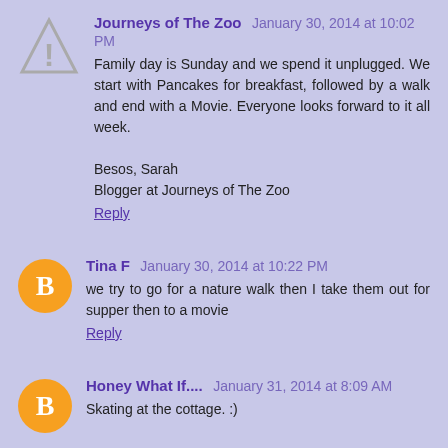Journeys of The Zoo  January 30, 2014 at 10:02 PM
Family day is Sunday and we spend it unplugged. We start with Pancakes for breakfast, followed by a walk and end with a Movie. Everyone looks forward to it all week.

Besos, Sarah
Blogger at Journeys of The Zoo
Reply
Tina F  January 30, 2014 at 10:22 PM
we try to go for a nature walk then I take them out for supper then to a movie
Reply
Honey What If....  January 31, 2014 at 8:09 AM
Skating at the cottage. :)